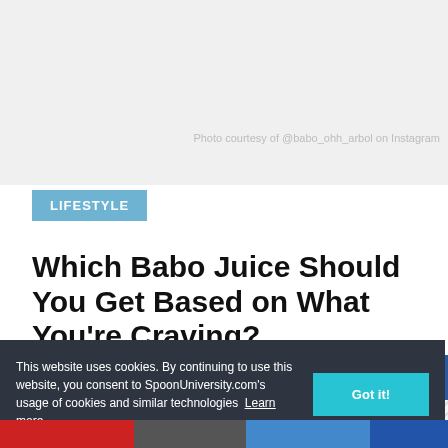Photo courtesy of @babo_ohh_arbol on Instagram
LIFESTYLE
Which Babo Juice Should You Get Based on What You're Craving?
Overwhelmed by the amount of Babo's juice
[Figure (infographic): Advertisement banner: JOIN A SPOON UNIVERSITY CHAPTER TODAY! APPLY NOW! with teal gradient background and starburst button]
This website uses cookies. By continuing to use this website, you consent to SpoonUniversity.com's usage of cookies and similar technologies Learn more